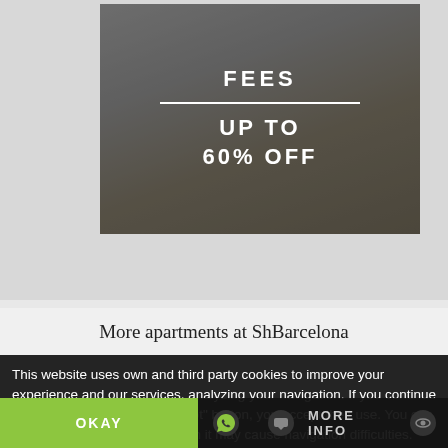[Figure (photo): Interior photo of a modern apartment living room with white walls, sofa, wicker chair, and wooden flooring. Overlaid with dark tint and white text reading 'FEES / [horizontal line] / UP TO / 60% OFF']
More apartments at ShBarcelona
This website uses own and third party cookies to improve your experience and our services, analyzing your navigation. If you continue browsing or click on the "Accept" button, you accept their use. You can prevent its installation, although it may cause navigation difficulties.